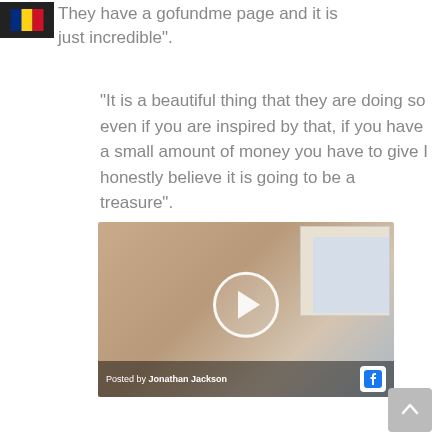They have a gofundme page and it is just incredible".
“It is a beautiful thing that they are doing so even if you are inspired by that, if you have a small amount of money you have to give I honestly believe it is going to be a treasure”.
[Figure (screenshot): Embedded video screenshot showing a man with long hair, with a play button overlay and a footer reading 'Posted by Jonathan Jackson' with a Facebook icon.]